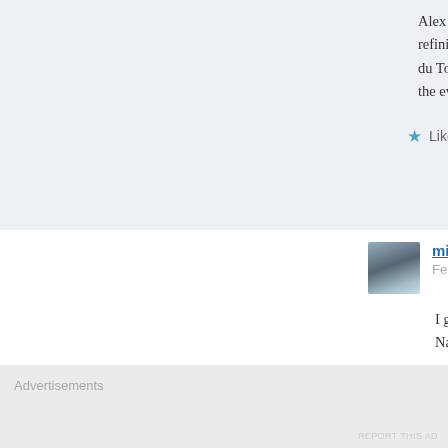Alex du Toit was a great supporter of Alfre... refining it after Wegener died in 1930. This... du Toit in coming weeks. Meanwhile, we a... the events 100 years ago that started the pla...
Like
Reply
michaelroberts4004 says:
February 4, 2016 at 7:59 am
I got to know about du toit in South A... Namib Desert. I have his book.
Like
Advertisements